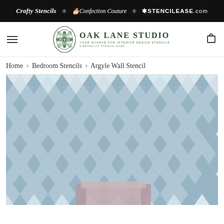Crafty Stencils * Confection Couture * STENCILEASE.com
[Figure (logo): Oak Lane Studio logo with ornate green emblem and text: OAK LANE STUDIO - YOUR SOURCE FOR INTERIOR DESIGN STENCILS - A BRAND OF STENCIL EASE]
Home › Bedroom Stencils › Argyle Wall Stencil
[Figure (photo): Photo of an argyle diamond pattern wall stencil applied in soft blue/grey tones on a white wall, with a portion of a pink/mauve couch visible at the bottom center]